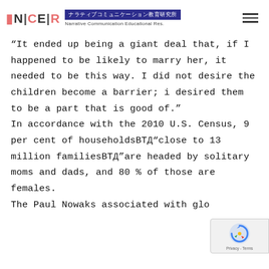NCER ナラティブコミュニケーション教育研究所 Narrative Communication Educational Res.
"It ended up being a giant deal that, if I happened to be likely to marry her, it needed to be this way. I did not desire the children become a barrier; i desired them to be a part that is good of." In accordance with the 2010 U.S. Census, 9 per cent of householdsвЂ"close to 13 million familiesвЂ"are headed by solitary moms and dads, and 80 % of those are females.
The Paul Nowaks associated with glo...